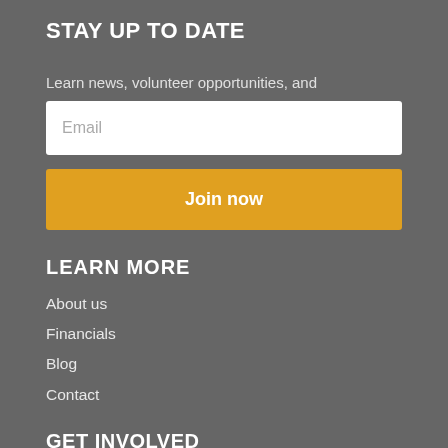STAY UP TO DATE
Learn news, volunteer opportunities, and
Email
Join now
LEARN MORE
About us
Financials
Blog
Contact
GET INVOLVED
Bring your team
Volunteer